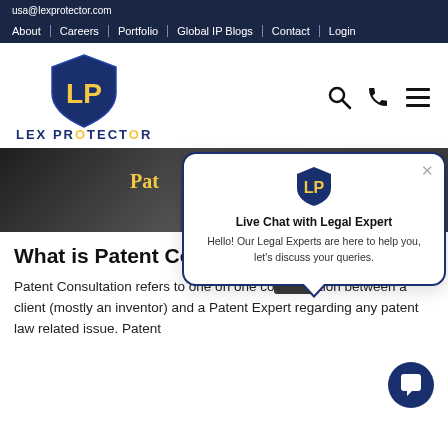usa@lexprotector.com
About | Careers | Portfolio | Global IP Blogs | Contact | Login
[Figure (logo): Lex Protector shield logo with LP monogram in blue and yellow, with text LEX PROTECTOR below]
[Figure (screenshot): Hero banner with dark background showing a hand holding a pen, with partial text 'Pat' visible in yellow/gold]
[Figure (infographic): Live chat popup bubble with Lex Protector logo, title 'Live Chat with Legal Expert', and message 'Hello! Our Legal Experts are here to help you, let’s discuss your queries.']
What is Patent Consultation ?
Patent Consultation refers to one on one conversation between a client (mostly an inventor) and a Patent Expert regarding any patent law related issue. Patent